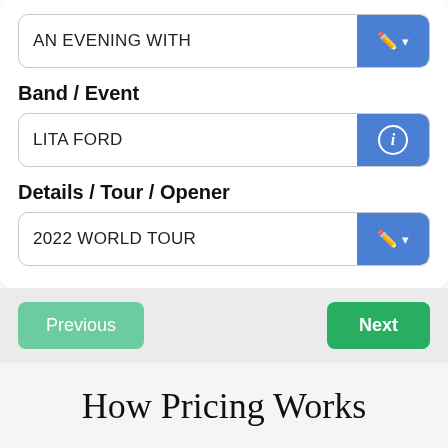AN EVENING WITH
Band / Event
LITA FORD
Details / Tour / Opener
2022 WORLD TOUR
Previous
Next
How Pricing Works
Buy More & Save More
Applies to Mix & Match